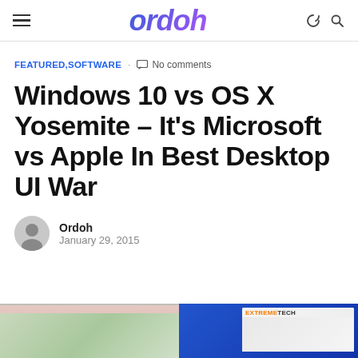ordoh
FEATURED, SOFTWARE · No comments
Windows 10 vs OS X Yosemite – It's Microsoft vs Apple In Best Desktop UI War
Ordoh
January 29, 2015
[Figure (screenshot): Screenshot composite: left half shows OS X Yosemite with Maps app open, right half shows a Windows 10 desktop with an ExtremeTech browser window visible]